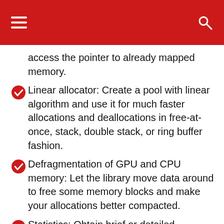access the pointer to already mapped memory.
Linear allocator: Create a pool with linear algorithm and use it for much faster allocations and deallocations in free-at-once, stack, double stack, or ring buffer fashion.
Defragmentation of GPU and CPU memory: Let the library move data around to free some memory blocks and make your allocations better compacted.
Statistics: Obtain brief or detailed statistics about the amount of memory used, unused, number of allocated blocks, number of